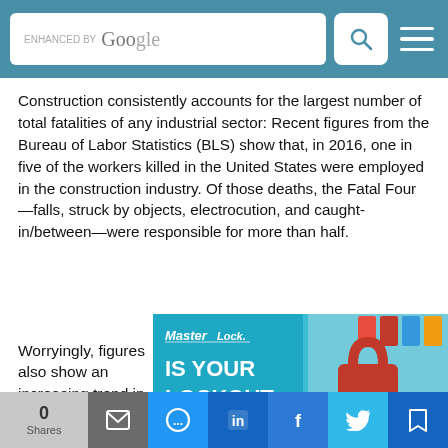ENHANCED BY Google [search bar] [search icon] [hamburger menu]
Construction consistently accounts for the largest number of total fatalities of any industrial sector: Recent figures from the Bureau of Labor Statistics (BLS) show that, in 2016, one in five of the workers killed in the United States were employed in the construction industry. Of those deaths, the Fatal Four—falls, struck by objects, electrocution, and caught-in/between—were responsible for more than half.
Worryingly, figures also show an increasing trend in certain areas: The numbers
[Figure (photo): Master Lock advertisement: 'IS YOUR LOCKOUT PROGRAM COMPLIANT?' with image of red and yellow padlocks on a light blue background]
0 Shares | email | SMS | LinkedIn | Facebook | Twitter | Bookmark